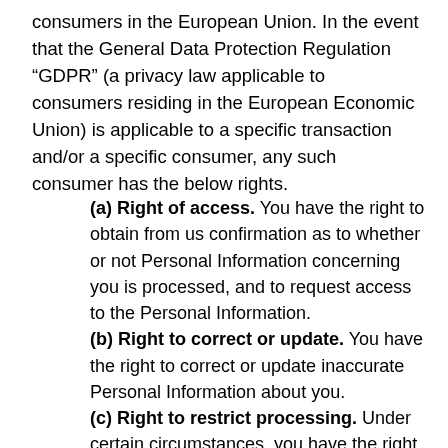consumers in the European Union. In the event that the General Data Protection Regulation “GDPR” (a privacy law applicable to consumers residing in the European Economic Union) is applicable to a specific transaction and/or a specific consumer, any such consumer has the below rights.
(a) Right of access. You have the right to obtain from us confirmation as to whether or not Personal Information concerning you is processed, and to request access to the Personal Information.
(b) Right to correct or update. You have the right to correct or update inaccurate Personal Information about you.
(c) Right to restrict processing. Under certain circumstances, you have the right to restrict the processing of your Personal Information. In such instances, your Personal Information may only be processed by us for limited purposes.